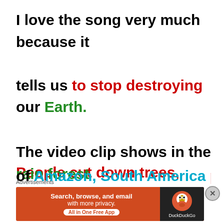I love the song very much because it tells us to stop destroying our Earth. People cut down trees, killed wild animals, start forest fire and war. The video clip shows in the rain forest of Amazon, South America people are
[Figure (screenshot): DuckDuckGo advertisement banner with orange background, showing 'Search, browse, and email with more privacy. All in One Free App' text and DuckDuckGo logo on dark background]
Advertisements